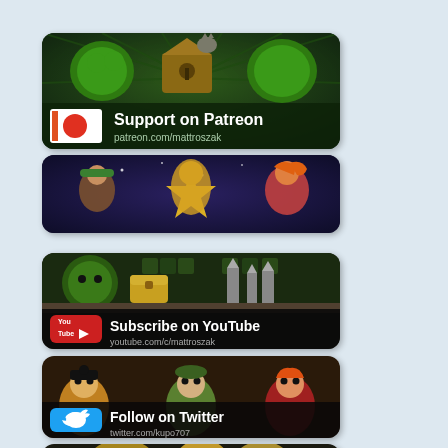[Figure (illustration): Patreon support banner with cartoon game characters (green creatures, a birdhouse) on dark green background. Shows Patreon logo, text 'Support on Patreon' and 'patreon.com/mattroszak']
[Figure (illustration): Colorful anime/game art banner showing fantasy characters including a girl with orange hair and a golden armored figure on a starry background]
[Figure (illustration): YouTube subscribe banner with pixel-art game scene (green blob creature, golden chest, castle spires). Shows YouTube logo, text 'Subscribe on YouTube' and 'youtube.com/c/mattroszak']
[Figure (illustration): Twitter follow banner with cartoon game characters (pirate blonde, green-hatted character, orange-haired girl) on dark background. Shows Twitter bird logo, text 'Follow on Twitter' and 'twitter.com/kupo707']
[Figure (illustration): Partial banner at bottom showing golden armored game characters on dark background, partially cut off]